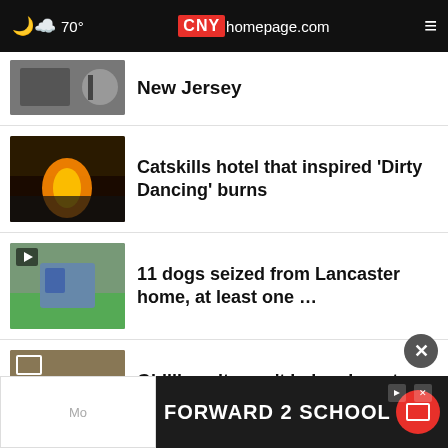70° CNYhomepage.com
New Jersey
Catskills hotel that inspired 'Dirty Dancing' burns
11 dogs seized from Lancaster home, at least one …
Ghillie suits can't help migrants avoid detection
Oneonta woman sentenced to 5yrs for drug trafficking
[Figure (screenshot): Advertisement banner: FORWARD 2 SCHOOL]